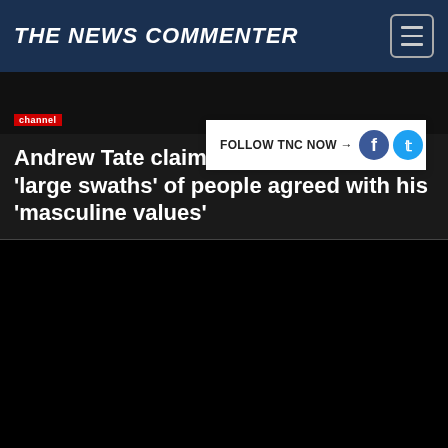THE NEWS COMMENTER
[Figure (screenshot): Black video thumbnail with a red channel badge in the lower left]
FOLLOW TNC NOW →
Andrew Tate claims 'large swaths' of people agreed with his 'masculine values'
[Figure (screenshot): Large black video player area with red bottom border]
Ukraine hits out at RMT boss Mick Lynch for claiming Kyiv provoked invasion with 'Nazi imagery'